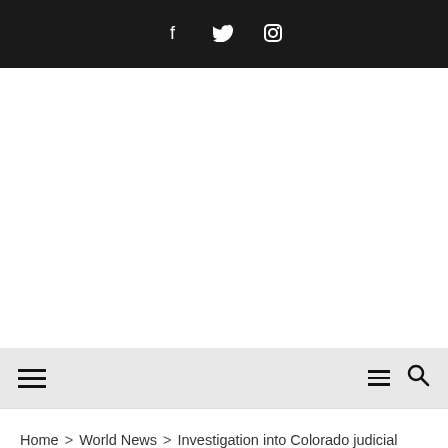f  twitter  instagram (social icons)
[Figure (logo): Lawyer Roll logo with red and blue chevron arrows and bold black text reading LAWYER ROLL]
Navigation bar with hamburger menu and search icon
Home > World News > Investigation into Colorado judicial scandal finds unethical behavior, but no contract-for-silence deal